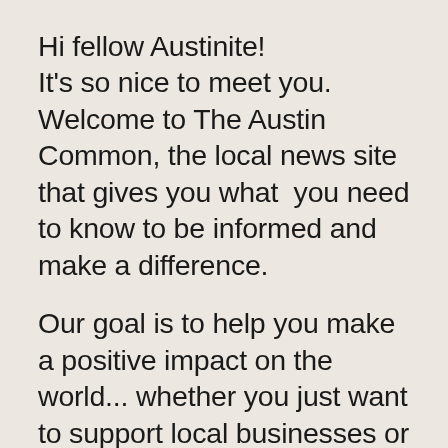Hi fellow Austinite! It's so nice to meet you. Welcome to The Austin Common, the local news site that gives you what you need to know to be informed and make a difference.
Our goal is to help you make a positive impact on the world... whether you just want to support local businesses or become the next Leslie Knope, Greta